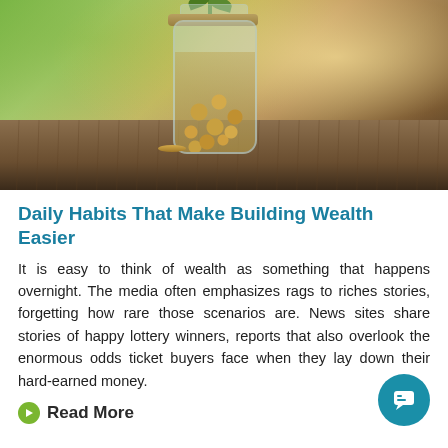[Figure (photo): A glass jar filled with coins with a small green plant sprouting from the top, sitting on a rustic wooden surface with a blurred green and bright background.]
Daily Habits That Make Building Wealth Easier
It is easy to think of wealth as something that happens overnight. The media often emphasizes rags to riches stories, forgetting how rare those scenarios are. News sites share stories of happy lottery winners, reports that also overlook the enormous odds ticket buyers face when they lay down their hard-earned money.
Read More